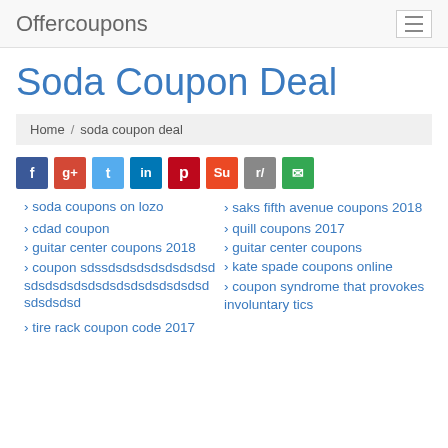Offercoupons
Soda Coupon Deal
Home / soda coupon deal
[Figure (infographic): Row of social media sharing icons: Facebook (blue), Google+ (red), Twitter (light blue), LinkedIn (dark blue), Pinterest (dark red), StumbleUpon (orange), Reddit (grey), Email (green)]
soda coupons on lozo
saks fifth avenue coupons 2018
cdad coupon
quill coupons 2017
guitar center coupons 2018
guitar center coupons
coupon sdssdsdsdsdsdsdsdsdsdsdsdsdsdsdsdsdsdsdsdsdsdsdsdsdsd
kate spade coupons online
coupon syndrome that provokes involuntary tics
tire rack coupon code 2017